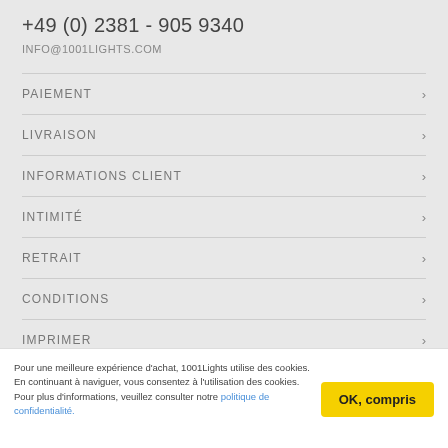+49 (0) 2381 - 905 9340
INFO@1001LIGHTS.COM
PAIEMENT
LIVRAISON
INFORMATIONS CLIENT
INTIMITÉ
RETRAIT
CONDITIONS
IMPRIMER
Pour une meilleure expérience d'achat, 1001Lights utilise des cookies. En continuant à naviguer, vous consentez à l'utilisation des cookies. Pour plus d'informations, veuillez consulter notre politique de confidentialité.